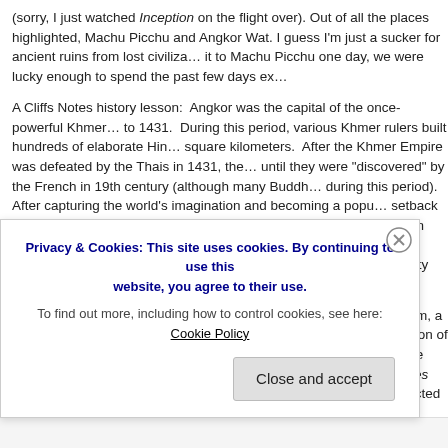(sorry, I just watched Inception on the flight over). Out of all the places highlighted, Machu Picchu and Angkor Wat. I guess I'm just a sucker for ancient ruins from lost civilizations. While I didn't make it to Machu Picchu one day, we were lucky enough to spend the past few days ex...
A Cliffs Notes history lesson: Angkor was the capital of the once-powerful Khmer Empire from 802 to 1431. During this period, various Khmer rulers built hundreds of elaborate Hindu temples over 400 square kilometers. After the Khmer Empire was defeated by the Thais in 1431, the temples lay hidden until they were "discovered" by the French in 19th century (although many Buddh... during this period). After capturing the world's imagination and becoming a popular destination, tourism suffered a setback in the 1960s and 1970s due to the Vietnam war and Cambodia's own tra... Cambodia, if not all of Southeast Asia, having been declared a UNESCO World H... three-day passes and headed out with our trusty tuk-tuk driver, Sol, to see as mu...
On our first day, we explored the temples in and around Angkor Thom, a fortified c... in the world. At its peak, Angkor Thom boasted a population of nearly one million (London had 50,000). As soon as Anna and I approached the south gate of Angkor Thom and... started humming the Indiana Jones theme song. Seeing these ruins in the middle... world. We half expected to be greeted by Mowgli from The Jungle Book. It...
Privacy & Cookies: This site uses cookies. By continuing to use this website, you agree to their use. To find out more, including how to control cookies, see here: Cookie Policy